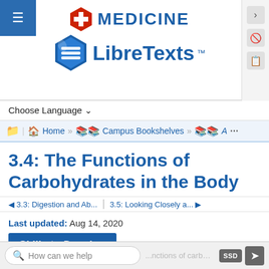[Figure (logo): Medicine LibreTexts logo with red hexagon cross icon and blue book hexagon icon]
Choose Language ▾
Home » Campus Bookshelves » A ...
3.4: The Functions of Carbohydrates in the Body
◄ 3.3: Digestion and Ab...   3.5: Looking Closely a... ►
Last updated: Aug 14, 2020
Skills to Develop
How can we help  ...functions of carbohydra...